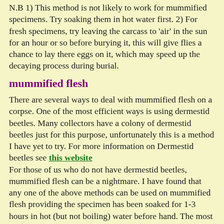N.B 1) This method is not likely to work for mummified specimens. Try soaking them in hot water first. 2) For fresh specimens, try leaving the carcass to 'air' in the sun for an hour or so before burying it, this will give flies a chance to lay there eggs on it, which may speed up the decaying process during burial.
mummified flesh
There are several ways to deal with mummified flesh on a corpse. One of the most efficient ways is using dermestid beetles. Many collectors have a colony of dermestid beetles just for this purpose, unfortunately this is a method I have yet to try. For more information on Dermestid beetles see this website
For those of us who do not have dermestid beetles, mummified flesh can be a nightmare. I have found that any one of the above methods can be used on mummified flesh providing the specimen has been soaked for 1-3 hours in hot (but not boiling) water before hand. The most efficient way (dermestids aside) is warm water maceration. Any of the other methods (with the exception of maggots) are just as effective, unfortunately they take much longer.